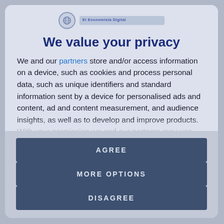[Figure (logo): Globe/UN-style circular logo with organization name text bar next to it]
We value your privacy
We and our partners store and/or access information on a device, such as cookies and process personal data, such as unique identifiers and standard information sent by a device for personalised ads and content, ad and content measurement, and audience insights, as well as to develop and improve products. With your permission we and our partners may use precise geolocation data and identification through device scanning. You may click to consent to our and our partners'
AGREE
MORE OPTIONS
DISAGREE